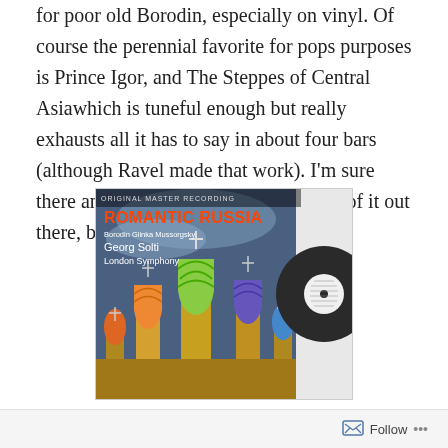for poor old Borodin, especially on vinyl. Of course the perennial favorite for pops purposes is Prince Igor, and The Steppes of Central Asiawhich is tuneful enough but really exhausts all it has to say in about four bars (although Ravel made that work). I'm sure there an no end of acceptable versions of it out there, but my own,
[Figure (photo): Album cover of 'Romantic Russia' featuring Georg Solti and the London Symphony, with colorful illustration of Russian Orthodox church domes (St. Basil's Cathedral style). Text reads: ORIGINAL MASTER RECORDING, ROMANTIC RUSSIA, Borodin Glinka Mussorgsky, Georg Solti, London Symphony. A vinyl record is visible on the right side.]
by coincidence, really, is Solti's from his audiophile favorite “Romantic Russia” which has gotten every
Follow